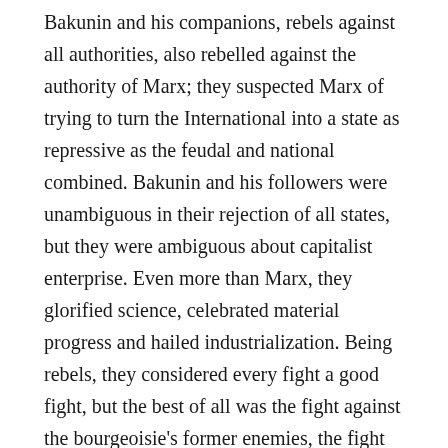Bakunin and his companions, rebels against all authorities, also rebelled against the authority of Marx; they suspected Marx of trying to turn the International into a state as repressive as the feudal and national combined. Bakunin and his followers were unambiguous in their rejection of all states, but they were ambiguous about capitalist enterprise. Even more than Marx, they glorified science, celebrated material progress and hailed industrialization. Being rebels, they considered every fight a good fight, but the best of all was the fight against the bourgeoisie's former enemies, the fight against feudal landlords and the Catholic Church. Thus the Bakuninist International flourished in places like Spain, where the bourgeoisie had not completed its struggle for independence but had, instead, allied itself with feudal barons and the Church for protection from insurgent workers and